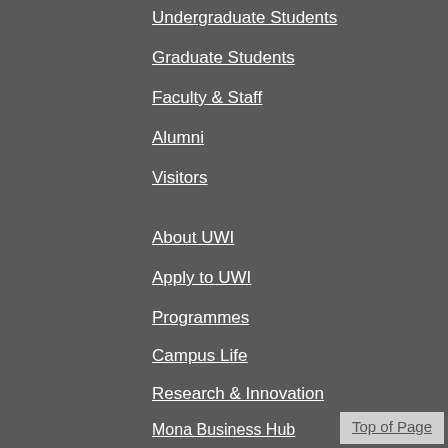Undergraduate Students
Graduate Students
Faculty & Staff
Alumni
Visitors
About UWI
Apply to UWI
Programmes
Campus Life
Research & Innovation
Mona Business Hub
Support UWI
Media Centre
Top of Page